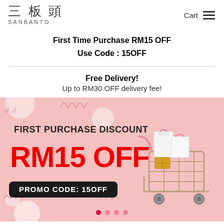三板頭 SANBANTO — Cart (hamburger menu)
First Time Purchase RM15 OFF
Use Code : 15OFF
Free Delivery!
Up to RM30 OFF delivery fee!
[Figure (infographic): Pink promotional banner for Sanbanto showing 'FIRST PURCHASE DISCOUNT RM15 OFF' in large red text, 'PROMO CODE: 15OFF' in a black rounded rectangle, decorative white circles, and a shopping cart with pink gift bags on the right side. Bottom shows four red dots as carousel indicators.]